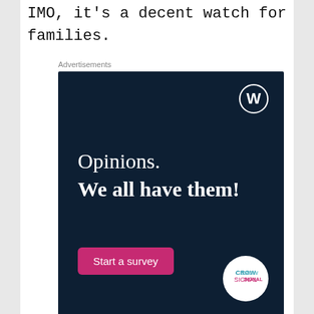IMO, it's a decent watch for families.
Advertisements
[Figure (other): WordPress/Crowdsignal advertisement with dark navy background. Text reads 'Opinions. We all have them!' with a pink 'Start a survey' button and Crowdsignal logo.]
REPORT THIS AD
Movie plot: Sam, a 18-year old orphan is aging out of the